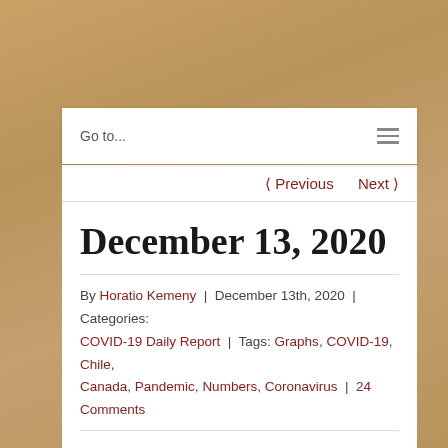Go to...
< Previous   Next >
December 13, 2020
By Horatio Kemeny | December 13th, 2020 | Categories: COVID-19 Daily Report | Tags: Graphs, COVID-19, Chile, Canada, Pandemic, Numbers, Coronavirus | 24 Comments
We get our local numbers tomorrow... so tomorrow we'll play catch-up with the stats. Until then, you get my opinion on a column